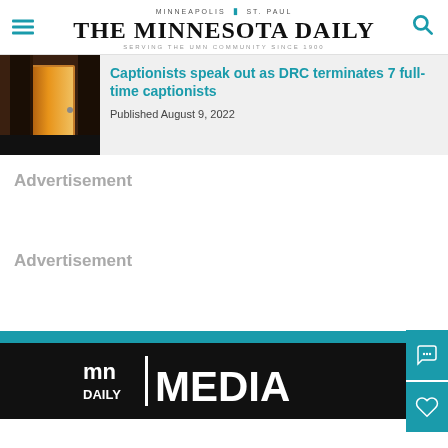MINNEAPOLIS | ST. PAUL — THE MINNESOTA DAILY — SERVING THE UMN COMMUNITY SINCE 1900
Captionists speak out as DRC terminates 7 full-time captionists
Published August 9, 2022
Advertisement
Advertisement
[Figure (logo): MN Daily Media logo in white on black background]
[Figure (photo): Photo of a hallway with a door lit in yellow/orange light]